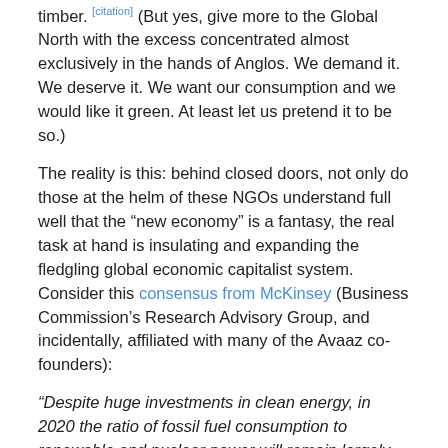timber. [citation] (But yes, give more to the Global North with the excess concentrated almost exclusively in the hands of Anglos. We demand it. We deserve it. We want our consumption and we would like it green. At least let us pretend it to be so.)
The reality is this: behind closed doors, not only do those at the helm of these NGOs understand full well that the “new economy” is a fantasy, the real task at hand is insulating and expanding the fledgling global economic capitalist system. Consider this consensus from McKinsey (Business Commission’s Research Advisory Group, and incidentally, affiliated with many of the Avaaz co-founders):
“Despite huge investments in clean energy, in 2020 the ratio of fossil fuel consumption to renewable and nuclear power will remain largely as it is today—roughly 80 percent. No realistic scenario will move the needle: the embedded resource infrastructure is so large that any transition away from fossil fuels will take decades.” — Pricing the Planet, June, 2010
And perhaps even more graphic, from the Business & Sustainable Development Commission website:
“Trade’s share of GDP is declining for the first time in 30 years. Global unemployment reached 197 million last year, while 600 million new